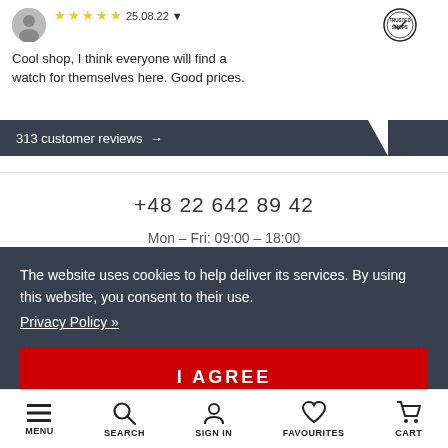Cool shop, I think everyone will find a watch for themselves here. Good prices.
25.08.22
[Figure (logo): Trusted Shops circular logo]
313 customer reviews →
+48 22 642 89 42
Mon - Fri: 09:00 - 18:00
The website uses cookies to help deliver its services. By using this website, you consent to their use.
Privacy Policy »
I AGREE
MENU
SEARCH
SIGN IN
FAVOURITES
CART